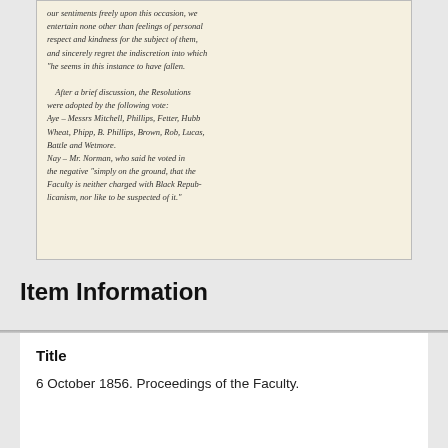[Figure (photo): Handwritten manuscript page showing cursive text about faculty proceedings, including a vote with Aye and Nay tallies]
Item Information
Title
6 October 1856. Proceedings of the Faculty.